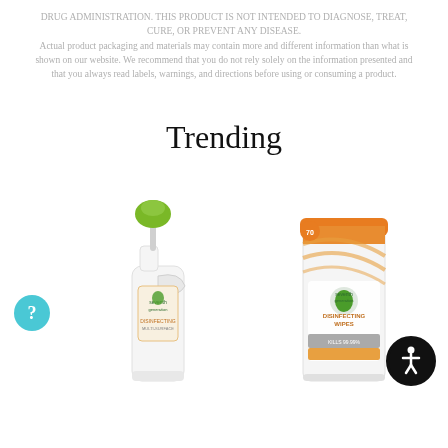DRUG ADMINISTRATION. THIS PRODUCT IS NOT INTENDED TO DIAGNOSE, TREAT, CURE, OR PREVENT ANY DISEASE. Actual product packaging and materials may contain more and different information than what is shown on our website. We recommend that you do not rely solely on the information presented and that you always read labels, warnings, and directions before using or consuming a product.
Trending
[Figure (photo): Seventh Generation disinfecting spray bottle with green nozzle, orange and white label]
[Figure (photo): Seventh Generation disinfecting wipes canister with orange label]